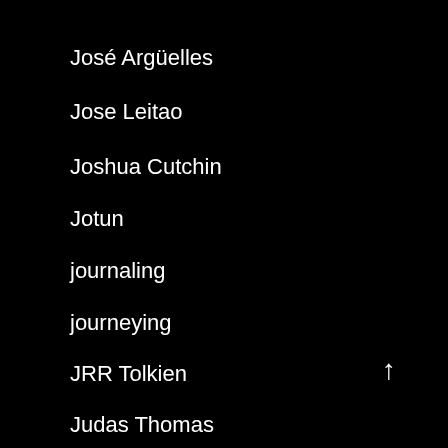José Argüelles
Jose Leitao
Joshua Cutchin
Jotun
journaling
journeying
JRR Tolkien
Judas Thomas
Julio Cesar Ody
Jupiter
JW